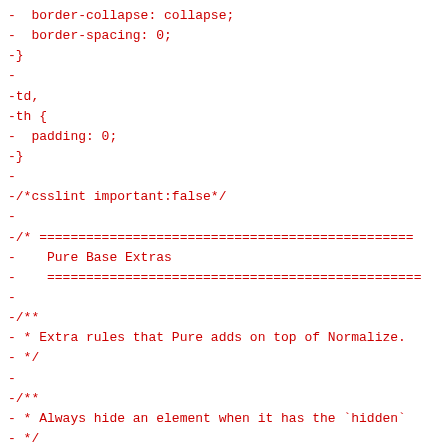-  border-collapse: collapse;
-  border-spacing: 0;
-}
-
-td,
-th {
-  padding: 0;
-}
-
-/*csslint important:false*/
-
-/* =============================================
-    Pure Base Extras
-    =============================================
-
-/**
- * Extra rules that Pure adds on top of Normalize.
- */
-
-/**
- * Always hide an element when it has the `hidden`
- */
-
-.hidden,
-[hidden] {
-    display: none !important;
-}
-
-/**
- * Add this class to an image to make it fit withi